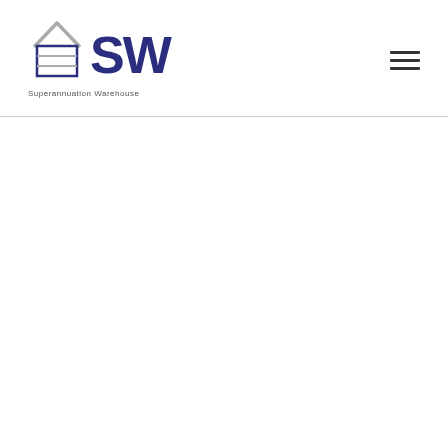SW Superannuation Warehouse logo and navigation menu